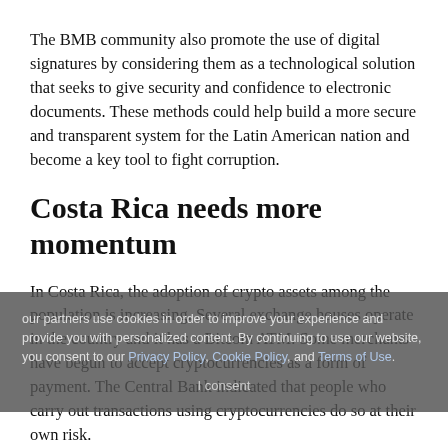The BMB community also promote the use of digital signatures by considering them as a technological solution that seeks to give security and confidence to electronic documents. These methods could help build a more secure and transparent system for the Latin American nation and become a key tool to fight corruption.
Costa Rica needs more momentum
In Costa Rica, the adoption of crypto assets among the population is increasing. Several exchange houses operate in the country and it has a Bitcoin ATM. Some merchants have begun to accept cryptocurrencies as a form of payment. The Central Bank indicated that people who carry out transactions using cryptocurrencies do so at their own risk.
In October, Costa Rica became the first Central American